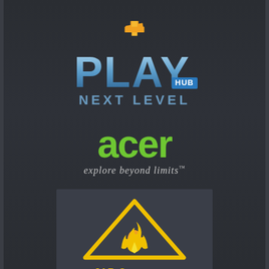[Figure (logo): PlayHub Next Level logo — large stylized 'PLAY' text in steel-blue gradient with 'HUB' badge in blue rectangle, and 'NEXT LEVEL' text in blue-grey below. Orange/yellow geometric icon above.]
[Figure (logo): Acer logo in bright green with tagline 'explore beyond limits™' in italic grey text below.]
[Figure (logo): JAR Computers logo — yellow triangle outline with flame icon inside, on dark grey background panel, with 'JAR Computers' text in yellow below.]